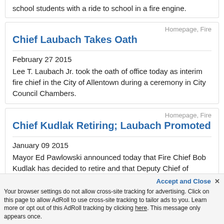school students with a ride to school in a fire engine.
Homepage, Fire
Chief Laubach Takes Oath
February 27 2015
Lee T. Laubach Jr. took the oath of office today as interim fire chief in the City of Allentown during a ceremony in City Council Chambers.
Homepage, Fire
Chief Kudlak Retiring; Laubach Promoted
January 09 2015
Mayor Ed Pawlowski announced today that Fire Chief Bob Kudlak has decided to retire and that Deputy Chief of Operations Lee T. Laubach Jr. is being promoted to interim fire chief.
Accept and Close ×
Your browser settings do not allow cross-site tracking for advertising. Click on this page to allow AdRoll to use cross-site tracking to tailor ads to you. Learn more or opt out of this AdRoll tracking by clicking here. This message only appears once.